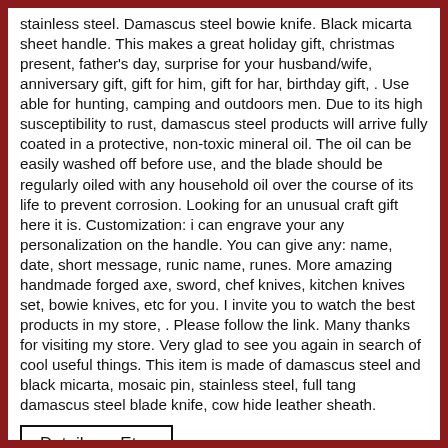stainless steel. Damascus steel bowie knife. Black micarta sheet handle. This makes a great holiday gift, christmas present, father's day, surprise for your husband/wife, anniversary gift, gift for him, gift for har, birthday gift, . Use able for hunting, camping and outdoors men. Due to its high susceptibility to rust, damascus steel products will arrive fully coated in a protective, non-toxic mineral oil. The oil can be easily washed off before use, and the blade should be regularly oiled with any household oil over the course of its life to prevent corrosion. Looking for an unusual craft gift here it is. Customization: i can engrave your any personalization on the handle. You can give any: name, date, short message, runic name, runes. More amazing handmade forged axe, sword, chef knives, kitchen knives set, bowie knives, etc for you. I invite you to watch the best products in my store, . Please follow the link. Many thanks for visiting my store. Very glad to see you again in search of cool useful things. This item is made of damascus steel and black micarta, mosaic pin, stainless steel, full tang damascus steel blade knife, cow hide leather sheath.
Details on Etsy